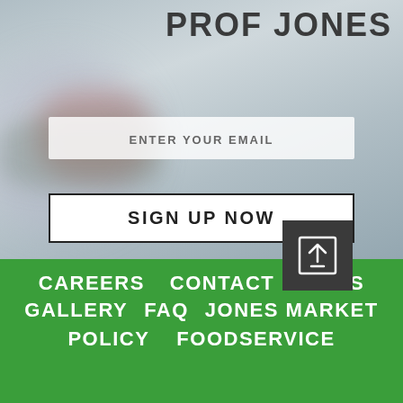PROF JONES
ENTER YOUR EMAIL
SIGN UP NOW
[Figure (illustration): Dark gray square button with an upload/share icon (arrow pointing upward out of a box), white outlined icon on dark background]
CAREERS  CONTACT  NEWS  GALLERY  FAQ  JONES MARKET  POLICY  FOODSERVICE